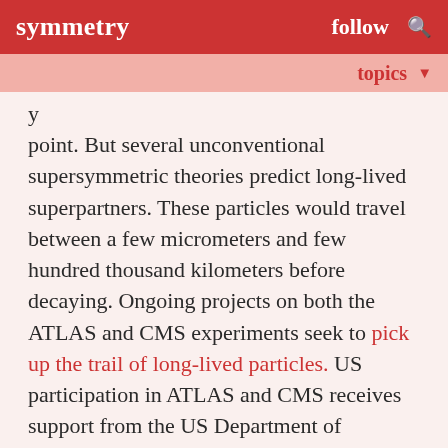symmetry   follow
topics
point. But several unconventional supersymmetric theories predict long-lived superpartners. These particles would travel between a few micrometers and few hundred thousand kilometers before decaying. Ongoing projects on both the ATLAS and CMS experiments seek to pick up the trail of long-lived particles. US participation in ATLAS and CMS receives support from the US Department of Energy's Office of Science and the National Science Foundation.